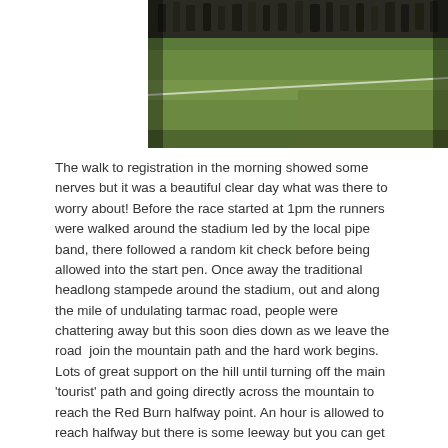[Figure (photo): Photograph of people on a green grassy field/stadium, shot from a low angle. People can be seen at the top walking on grass with white line markings visible. The background shows blurred figures against a dark/grey sky.]
The walk to registration in the morning showed some nerves but it was a beautiful clear day what was there to worry about! Before the race started at 1pm the runners were walked around the stadium led by the local pipe band, there followed a random kit check before being allowed into the start pen. Once away the traditional headlong stampede around the stadium, out and along the mile of undulating tarmac road, people were chattering away but this soon dies down as we leave the road  join the mountain path and the hard work begins. Lots of great support on the hill until turning off the main 'tourist' path and going directly across the mountain to reach the Red Burn halfway point. An hour is allowed to reach halfway but there is some leeway but you can get